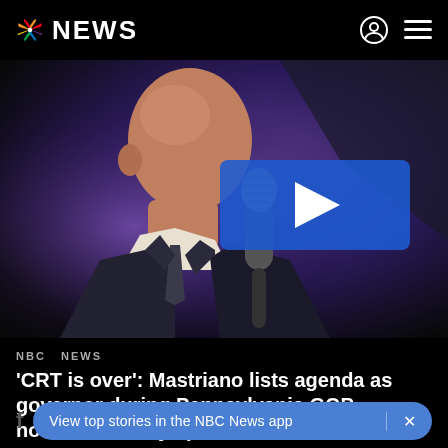NBC NEWS
[Figure (photo): Bald man in dark suit holding a microphone, speaking at an event with purple stage lighting. A blue video play button overlay is centered on the image.]
NBC NEWS
'CRT is over': Mastriano lists agenda as governor during Pennsylvania GOP nominee victory speech
View top stories in the NBC News app